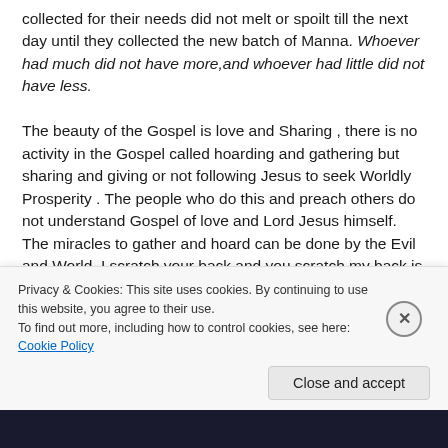collected for their needs did not melt or spoilt till the next day until they collected the new batch of Manna. Whoever had much did not have more,and whoever had little did not have less.

The beauty of the Gospel is love and Sharing , there is no activity in the Gospel called hoarding and gathering but sharing and giving or not following Jesus to seek Worldly Prosperity . The people who do this and preach others do not understand Gospel of love and Lord Jesus himself. The miracles to gather and hoard can be done by the Evil and World. I scratch your back and you scratch my back is the practice of this World to gather and become famous in the Eyes of this World. But Gospel says share with the poor
Privacy & Cookies: This site uses cookies. By continuing to use this website, you agree to their use.
To find out more, including how to control cookies, see here: Cookie Policy
Close and accept